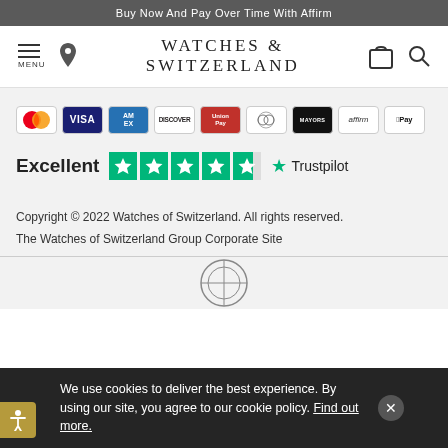Buy Now And Pay Over Time With Affirm
[Figure (logo): Watches of Switzerland navigation bar with hamburger menu, location pin, logo, bag icon, and search icon]
[Figure (infographic): Payment method icons: Mastercard, Visa, American Express, Discover, UnionPay, Diners Club, Mayors, Affirm, Apple Pay]
[Figure (infographic): Trustpilot rating: Excellent with 4.5 green stars and Trustpilot logo]
Copyright © 2022 Watches of Switzerland. All rights reserved.
The Watches of Switzerland Group Corporate Site
We use cookies to deliver the best experience. By using our site, you agree to our cookie policy. Find out more.